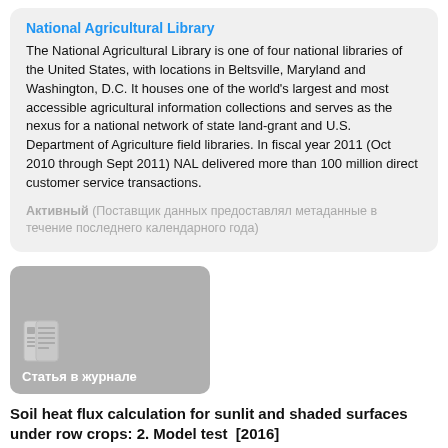National Agricultural Library
The National Agricultural Library is one of four national libraries of the United States, with locations in Beltsville, Maryland and Washington, D.C. It houses one of the world's largest and most accessible agricultural information collections and serves as the nexus for a national network of state land-grant and U.S. Department of Agriculture field libraries. In fiscal year 2011 (Oct 2010 through Sept 2011) NAL delivered more than 100 million direct customer service transactions.
Активный (Поставщик данных предоставлял метаданные в течение последнего календарного года)
[Figure (illustration): Gray rounded rectangle thumbnail with newspaper/article icon and label 'Статья в журнале' (Journal article)]
Soil heat flux calculation for sunlit and shaded surfaces under row crops: 2. Model test  [2016]
Colaizzi, Paul D.; Evett, Steven R.; Agam, Nurit; Schwartz, Robert C.; et al.
Доступ к полному тексту